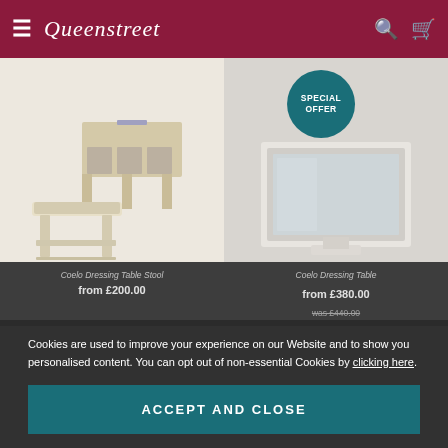Queenstreet
[Figure (photo): Queenstreet furniture product page showing two products: a dressing table stool (left) and a dressing table mirror with a Special Offer badge (right)]
Coelo Dressing Table Stool
Coelo Dressing Table
from £200.00
from £380.00 was £440.00
Cookies are used to improve your experience on our Website and to show you personalised content. You can opt out of non-essential Cookies by clicking here.
ACCEPT AND CLOSE